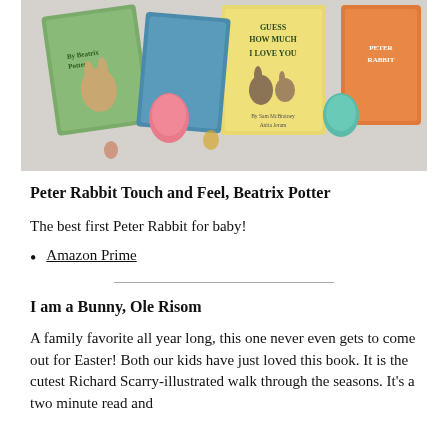[Figure (photo): Photo of children's board books including 'Guess How Much I Love You' with colorful Easter eggs scattered on a fuzzy white surface]
Peter Rabbit Touch and Feel, Beatrix Potter
The best first Peter Rabbit for baby!
Amazon Prime
I am a Bunny, Ole Risom
A family favorite all year long, this one never even gets to come out for Easter! Both our kids have just loved this book. It is the cutest Richard Scarry-illustrated walk through the seasons. It's a two minute read and